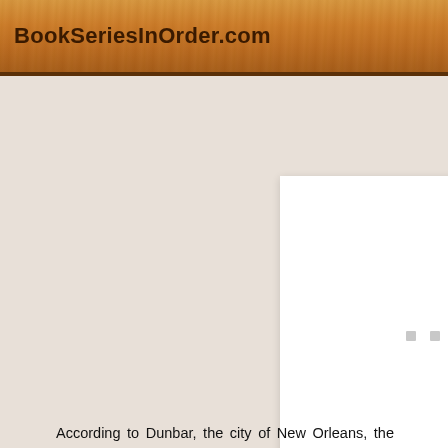BookSeriesInOrder.com
[Figure (other): White rectangular placeholder/loading area with three small grey squares in the center, representing a loading image or book cover]
According to Dunbar, the city of New Orleans, the inhabitants, the party, the menace, the music, and the food is an actual character in his Tubby Dubonnet series